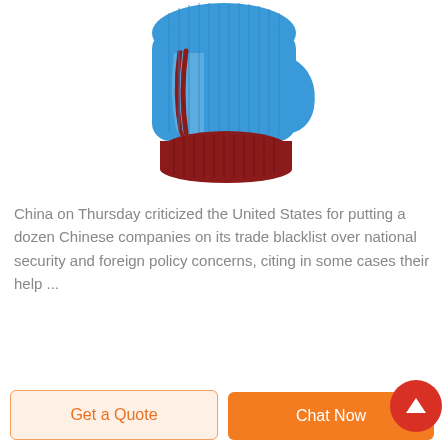[Figure (photo): A blue and dark red/maroon ribbed knit balaclava ski mask, shown from behind/side angle, with a cutout for the face area and a dark red band at the bottom cuff.]
China on Thursday criticized the United States for putting a dozen Chinese companies on its trade blacklist over national security and foreign policy concerns, citing in some cases their help ...